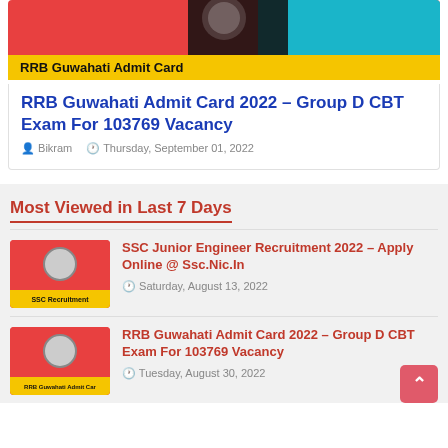[Figure (photo): RRB Guwahati Admit Card banner image with red, black and teal colors, yellow strip at bottom with bold text]
RRB Guwahati Admit Card 2022 – Group D CBT Exam For 103769 Vacancy
Bikram  Thursday, September 01, 2022
Most Viewed in Last 7 Days
[Figure (photo): SSC Recruitment thumbnail image with red background and official seal, yellow label reading SSC Recruitment]
SSC Junior Engineer Recruitment 2022 – Apply Online @ Ssc.Nic.In
Saturday, August 13, 2022
[Figure (photo): RRB Guwahati Admit Card thumbnail image with red background and official seal, label reading RRB Guwahati Admit Card]
RRB Guwahati Admit Card 2022 – Group D CBT Exam For 103769 Vacancy
Tuesday, August 30, 2022